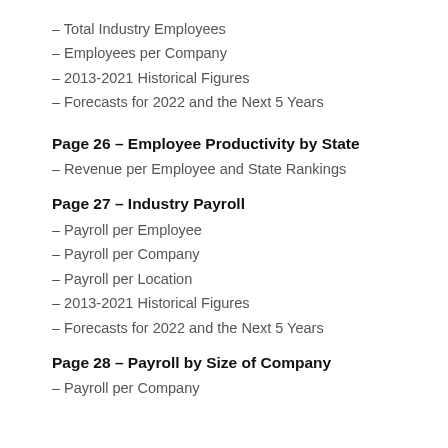– Total Industry Employees
– Employees per Company
– 2013-2021 Historical Figures
– Forecasts for 2022 and the Next 5 Years
Page 26 – Employee Productivity by State
– Revenue per Employee and State Rankings
Page 27 – Industry Payroll
– Payroll per Employee
– Payroll per Company
– Payroll per Location
– 2013-2021 Historical Figures
– Forecasts for 2022 and the Next 5 Years
Page 28 – Payroll by Size of Company
– Payroll per Company